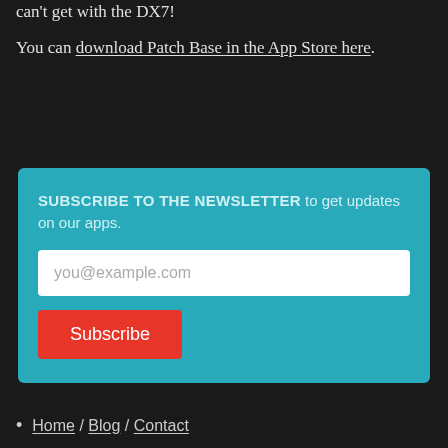can't get with the DX7!
You can download Patch Base in the App Store here.
SUBSCRIBE TO THE NEWSLETTER to get updates on our apps.
you@example.com
Subscribe
Home / Blog / Contact